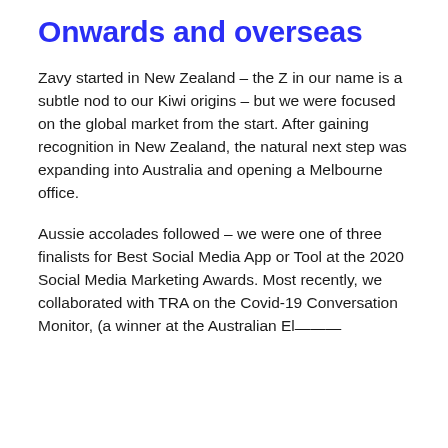Onwards and overseas
Zavy started in New Zealand – the Z in our name is a subtle nod to our Kiwi origins – but we were focused on the global market from the start. After gaining recognition in New Zealand, the natural next step was expanding into Australia and opening a Melbourne office.
Aussie accolades followed – we were one of three finalists for Best Social Media App or Tool at the 2020 Social Media Marketing Awards. Most recently, we collaborated with TRA on the Covid-19 Conversation Monitor, (a winner at the Australian Effected Partnerships, that is on the A